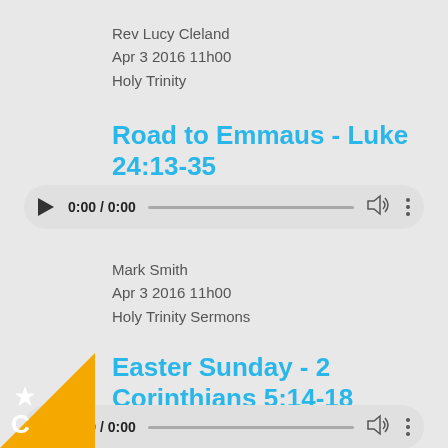Rev Lucy Cleland
Apr 3 2016 11h00
Holy Trinity
Road to Emmaus - Luke 24:13-35
[Figure (other): Audio player widget showing 0:00 / 0:00 with play button, progress bar, volume and more controls]
Mark Smith
Apr 3 2016 11h00
Holy Trinity Sermons
Easter Sunday - 2 Corinthians 5:14-18
[Figure (other): Audio player widget showing 0:00 / 0:00 with play button, progress bar, volume and more controls]
Rev Andrew Porter
27-Mar-2016 10:30